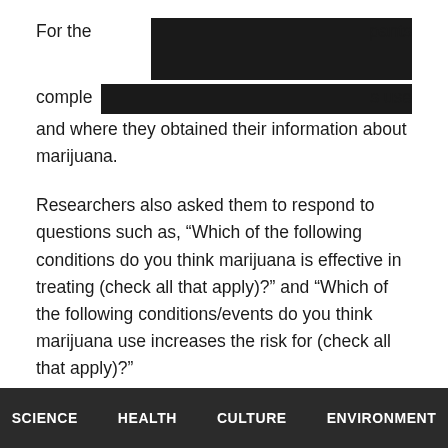For the [REDACTED] participants completed [REDACTED] s use and where they obtained their information about marijuana.
Researchers also asked them to respond to questions such as, “Which of the following conditions do you think marijuana is effective in treating (check all that apply)?” and “Which of the following conditions/events do you think marijuana use increases the risk for (check all that apply)?”
Researchers then compared participants’ knowledge with National Academies of Sciences, Engineering and Medicine (NASEM) conclusions regarding medical
SCIENCE    HEALTH    CULTURE    ENVIRONMENT